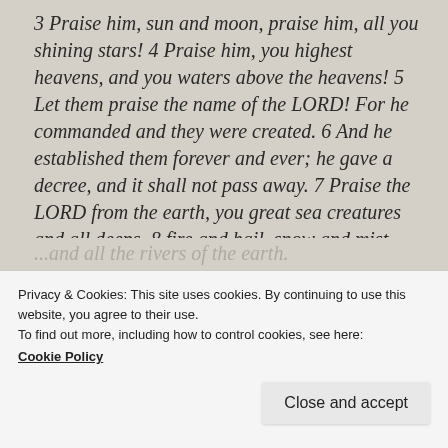3 Praise him, sun and moon, praise him, all you shining stars! 4 Praise him, you highest heavens, and you waters above the heavens! 5 Let them praise the name of the LORD! For he commanded and they were created. 6 And he established them forever and ever; he gave a decree, and it shall not pass away. 7 Praise the LORD from the earth, you great sea creatures and all deeps, 8 fire and hail, snow and mist, stormy wind fulfilling his word!
Privacy & Cookies: This site uses cookies. By continuing to use this website, you agree to their use.
To find out more, including how to control cookies, see here:
Cookie Policy
Close and accept